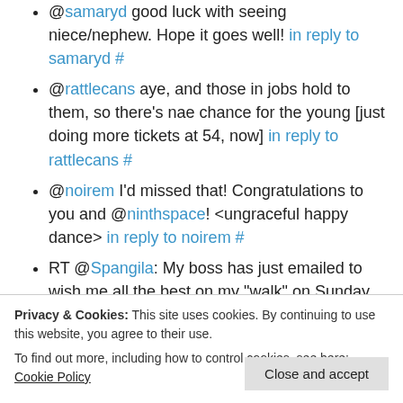@samaryd good luck with seeing niece/nephew. Hope it goes well! in reply to samaryd #
@rattlecans aye, and those in jobs hold to them, so there's nae chance for the young [just doing more tickets at 54, now] in reply to rattlecans #
@noirem I'd missed that! Congratulations to you and @ninthspace! <ungraceful happy dance> in reply to noirem #
RT @Spangila: My boss has just emailed to wish me all the best on my "walk" on Sunday… #FB <- ah, know how fast you run? #
How very sad: http://t.co/YfMMF8uZ Guns keeping people safe, as a father kills his son as a
Astonished at the number of folk who don't use AdBlock/AdBlock Plus #
Prediction of mobile phones and Flexible working
Privacy & Cookies: This site uses cookies. By continuing to use this website, you agree to their use. To find out more, including how to control cookies, see here: Cookie Policy